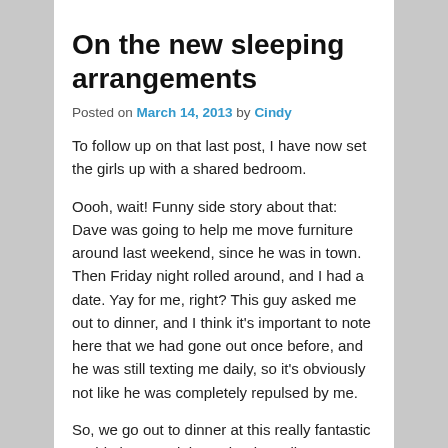On the new sleeping arrangements
Posted on March 14, 2013 by Cindy
To follow up on that last post, I have now set the girls up with a shared bedroom.
Oooh, wait! Funny side story about that: Dave was going to help me move furniture around last weekend, since he was in town. Then Friday night rolled around, and I had a date. Yay for me, right? This guy asked me out to dinner, and I think it's important to note here that we had gone out once before, and he was still texting me daily, so it's obviously not like he was completely repulsed by me.
So, we go out to dinner at this really fantastic sushi place, and the waiter is really prompt about refilling my Diet